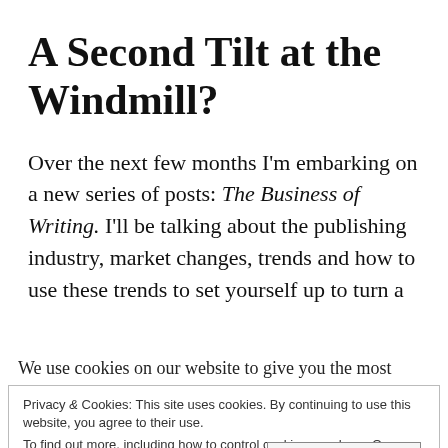A Second Tilt at the Windmill?
Over the next few months I'm embarking on a new series of posts: The Business of Writing. I'll be talking about the publishing industry, market changes, trends and how to use these trends to set yourself up to turn a
We use cookies on our website to give you the most
Privacy & Cookies: This site uses cookies. By continuing to use this website, you agree to their use.
To find out more, including how to control cookies, see here: Our Privacy Policy
Close and accept